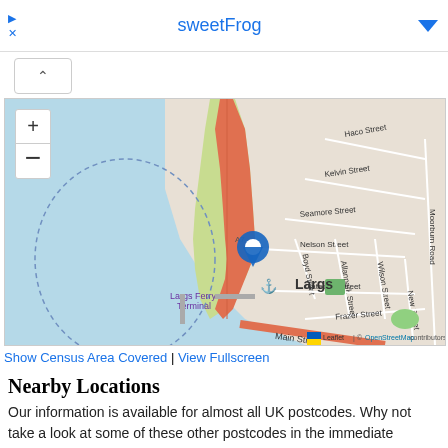sweetFrog
[Figure (map): OpenStreetMap showing Largs, Scotland with a blue location pin marker near the town centre. Shows streets including Haco Street, Kelvin Street, Seamore Street, Nelson Street, Boyd Street, Allanpark Street, Wilson Street, Gateside Street, Frazer Street, Main Street, and Moorburn Road. Largs Ferry Terminal is labeled. Zoom in/out controls visible top left. Map attribution: Leaflet | © OpenStreetMap contributors.]
Show Census Area Covered | View Fullscreen
Nearby Locations
Our information is available for almost all UK postcodes. Why not take a look at some of these other postcodes in the immediate